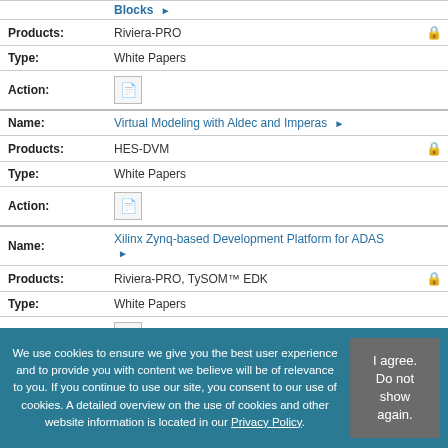| Field | Value |
| --- | --- |
|  | Blocks ▶ |
| Products: | Riviera-PRO |
| Type: | White Papers |
| Action: | [pdf icon] |
| Name: | Virtual Modeling with Aldec and Imperas ▶ |
| Products: | HES-DVM |
| Type: | White Papers |
| Action: | [pdf icon] |
| Name: | Xilinx Zynq-based Development Platform for ADAS ▶ |
| Products: | Riviera-PRO, TySOM™ EDK |
| Type: | White Papers |
| Action: | [pdf icon] |
We use cookies to ensure we give you the best user experience and to provide you with content we believe will be of relevance to you. If you continue to use our site, you consent to our use of cookies. A detailed overview on the use of cookies and other website information is located in our Privacy Policy.
I agree. Do not show again.